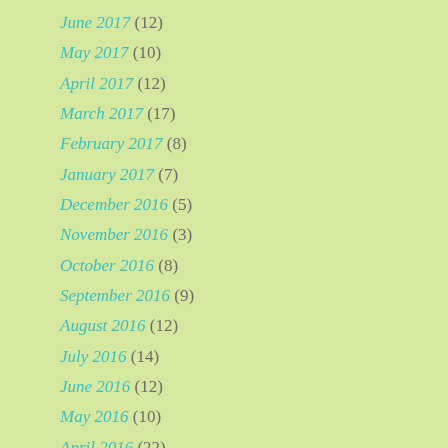June 2017 (12)
May 2017 (10)
April 2017 (12)
March 2017 (17)
February 2017 (8)
January 2017 (7)
December 2016 (5)
November 2016 (3)
October 2016 (8)
September 2016 (9)
August 2016 (12)
July 2016 (14)
June 2016 (12)
May 2016 (10)
April 2016 (22)
March 2016 (13)
February 2016 (12)
January 2016 (18)